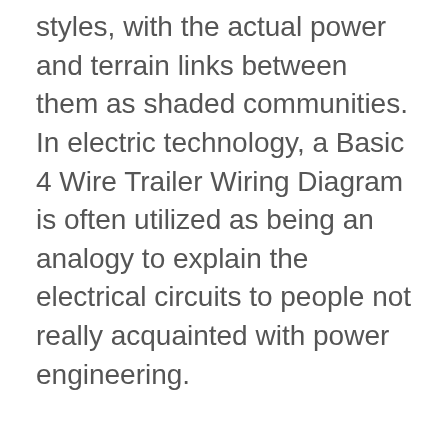styles, with the actual power and terrain links between them as shaded communities. In electric technology, a Basic 4 Wire Trailer Wiring Diagram is often utilized as being an analogy to explain the electrical circuits to people not really acquainted with power engineering.